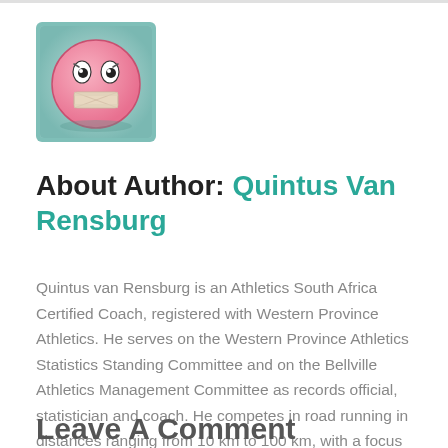[Figure (illustration): Cartoon avatar of a pink ball character with wide eyes and a bandage/tape over its mouth, set against a light teal/mint square background.]
About Author: Quintus Van Rensburg
Quintus van Rensburg is an Athletics South Africa Certified Coach, registered with Western Province Athletics. He serves on the Western Province Athletics Statistics Standing Committee and on the Bellville Athletics Management Committee as records official, statistician and coach. He competes in road running in distances ranging from 10 km to 100 km, with a focus on endurance events.
Leave A Comment